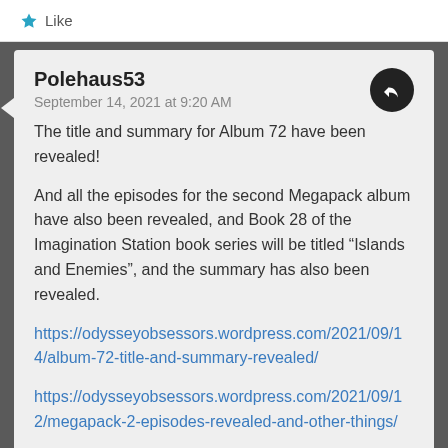Like
Polehaus53
September 14, 2021 at 9:20 AM
The title and summary for Album 72 have been revealed!
And all the episodes for the second Megapack album have also been revealed, and Book 28 of the Imagination Station book series will be titled “Islands and Enemies”, and the summary has also been revealed.
https://odysseyobsessors.wordpress.com/2021/09/14/album-72-title-and-summary-revealed/
https://odysseyobsessors.wordpress.com/2021/09/12/megapack-2-episodes-revealed-and-other-things/